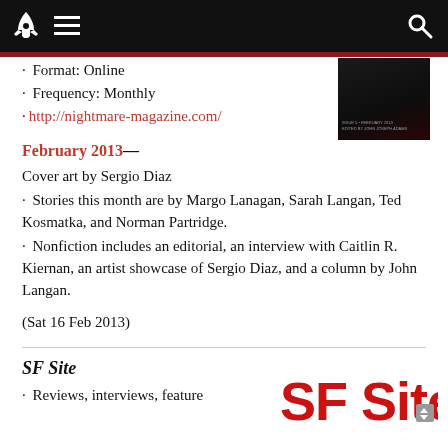Navigation bar with rocket logo, menu icon, search icon
· Format: Online
· Frequency: Monthly
· http://nightmare-magazine.com/
February 2013—
Cover art by Sergio Diaz
· Stories this month are by Margo Lanagan, Sarah Langan, Ted Kosmatka, and Norman Partridge.
· Nonfiction includes an editorial, an interview with Caitlin R. Kiernan, an artist showcase of Sergio Diaz, and a column by John Langan.
(Sat 16 Feb 2013)
SF Site
· Reviews, interviews, feature
[Figure (logo): SF Site logo in large red bold text with arrow]